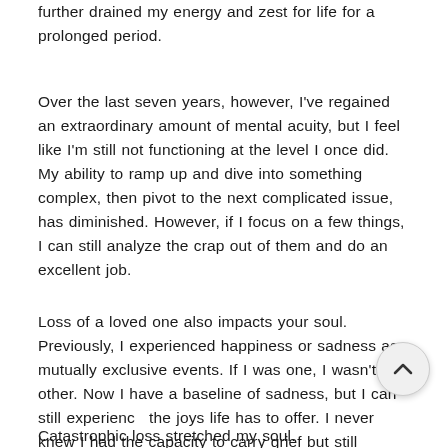further drained my energy and zest for life for a prolonged period.
Over the last seven years, however, I've regained an extraordinary amount of mental acuity, but I feel like I'm still not functioning at the level I once did. My ability to ramp up and dive into something complex, then pivot to the next complicated issue, has diminished. However, if I focus on a few things, I can still analyze the crap out of them and do an excellent job.
Loss of a loved one also impacts your soul. Previously, I experienced happiness or sadness as mutually exclusive events. If I was one, I wasn't the other. Now I have a baseline of sadness, but I can still experience the joys life has to offer. I never knew I had the capacity to carry grief but still experience pure joy. Catastrophic loss stretched my soul.